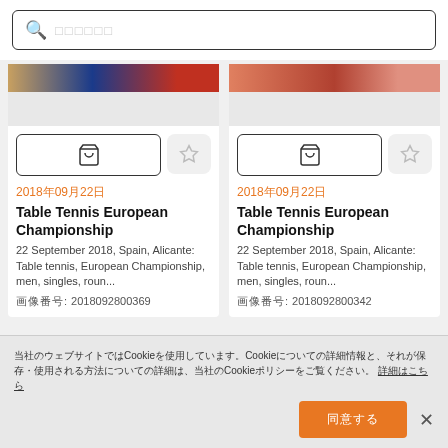[Figure (screenshot): Search bar with magnifying glass icon and placeholder Japanese characters]
[Figure (photo): Left card: table tennis image strip with blue and red colors]
[Figure (photo): Right card: table tennis image strip with red/orange colors]
2018年09月22日
Table Tennis European Championship
22 September 2018, Spain, Alicante: Table tennis, European Championship, men, singles, roun...
画像番号: 2018092800369
2018年09月22日
Table Tennis European Championship
22 September 2018, Spain, Alicante: Table tennis, European Championship, men, singles, roun...
画像番号: 2018092800342
当社のウェブサイトではCookieを使用しています。Cookieについての詳細情報と、それが保存・使用される方法についての詳細は、当社のCookieポリシーをご覧ください。 詳細はこちら
同意する